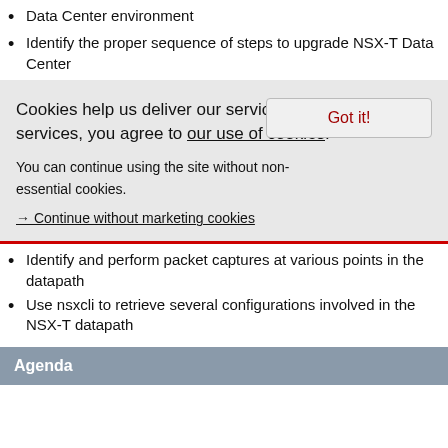Data Center environment
Identify the proper sequence of steps to upgrade NSX-T Data Center
Cookies help us deliver our services. By using our services, you agree to our use of cookies.
Got it!
You can continue using the site without non-essential cookies.
→ Continue without marketing cookies
Identify and perform packet captures at various points in the datapath
Use nsxcli to retrieve several configurations involved in the NSX-T datapath
Agenda